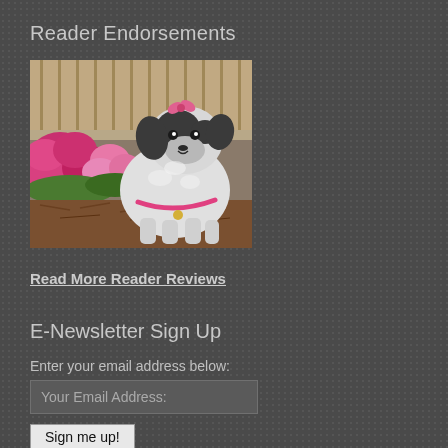Reader Endorsements
[Figure (photo): A black and white dog with a pink bow, standing in front of pink flowers and mulch in a garden setting.]
Read More Reader Reviews
E-Newsletter Sign Up
Enter your email address below:
Your Email Address:
Sign me up!